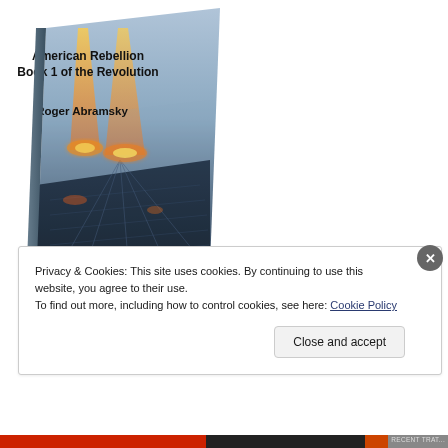[Figure (illustration): Book cover for 'American Rebellion Book 1 of the Revolution' by Roger Abramsky. The cover shows a dramatic aerial view of a city with beams of light or fire descending from above. The book is shown in a 3D perspective/angled view. The title and author name appear in bold text on the cover.]
Privacy & Cookies: This site uses cookies. By continuing to use this website, you agree to their use.
To find out more, including how to control cookies, see here: Cookie Policy
Close and accept
RECENT TRAT...